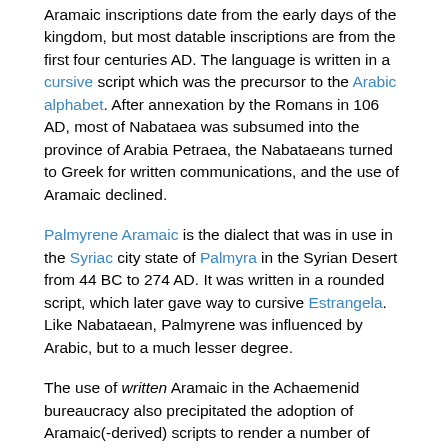Aramaic inscriptions date from the early days of the kingdom, but most datable inscriptions are from the first four centuries AD. The language is written in a cursive script which was the precursor to the Arabic alphabet. After annexation by the Romans in 106 AD, most of Nabataea was subsumed into the province of Arabia Petraea, the Nabataeans turned to Greek for written communications, and the use of Aramaic declined.
Palmyrene Aramaic is the dialect that was in use in the Syriac city state of Palmyra in the Syrian Desert from 44 BC to 274 AD. It was written in a rounded script, which later gave way to cursive Estrangela. Like Nabataean, Palmyrene was influenced by Arabic, but to a much lesser degree.
The use of written Aramaic in the Achaemenid bureaucracy also precipitated the adoption of Aramaic(-derived) scripts to render a number of Middle Iranian languages. Moreover, many common words, including even pronouns, particles, numerals, and auxiliaries, continued to written as Aramaic "words" even when writing Middle Iranian languages. In time, in Iranian usage, these Aramaic "words" became disassociated from the Aramaic language and came to be understood as signs (i.e. logograms), much like the symbol '&' is read as "and" in English and the original Latin et is now no longer obvious. Under the early 3rd-